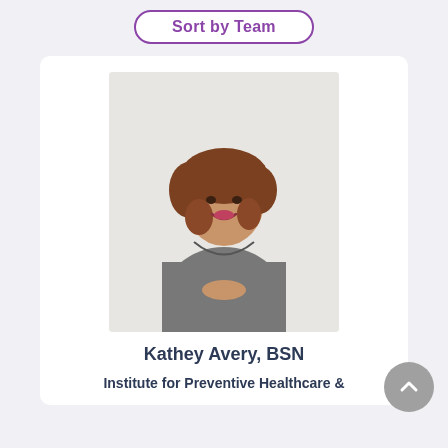Sort by Team
[Figure (photo): Professional headshot of Kathey Avery, BSN, a woman with curly reddish-brown hair wearing a gray dress, posed in a three-quarter turn with hands clasped]
Kathey Avery, BSN
Institute for Preventive Healthcare &